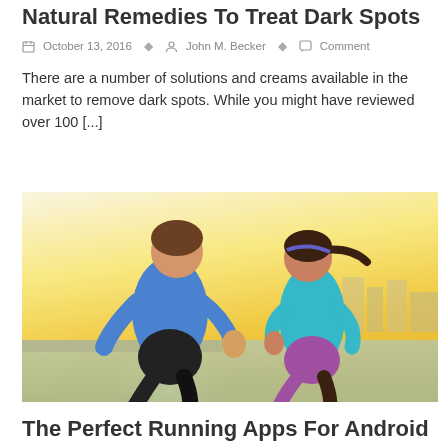Natural Remedies To Treat Dark Spots
October 13, 2016   John M. Becker   Comment
There are a number of solutions and creams available in the market to remove dark spots. While you might have reviewed over 100 [...]
[Figure (photo): A man and woman running outdoors in athletic wear (blue tank tops), with a city skyline in the background under a warm golden sunset.]
The Perfect Running Apps For Android